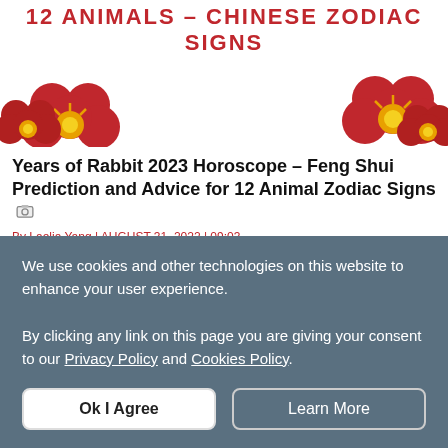12 ANIMALS – CHINESE ZODIAC SIGNS
[Figure (illustration): Decorative red plum blossom flower illustrations on left and right sides]
Years of Rabbit 2023 Horoscope – Feng Shui Prediction and Advice for 12 Animal Zodiac Signs
By Laelia Yang | AUGUST 31, 2022 | 09:03
The year of the Rabbit reigns with a characteristic of peace and stability, will it bring more auspicious signs than the competitive Tiger year? Check out the best feng shui predictions and advices for all 12 animal signs in the Year of
We use cookies and other technologies on this website to enhance your user experience.
By clicking any link on this page you are giving your consent to our Privacy Policy and Cookies Policy.
Ok I Agree
Learn More